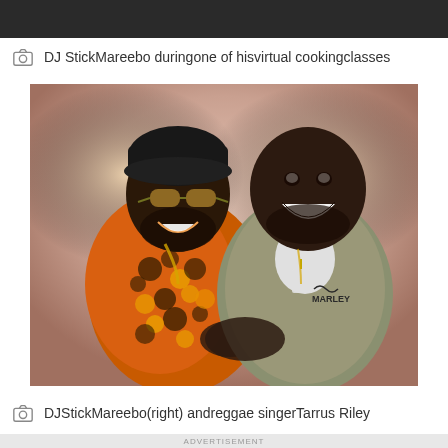DJ StickMareebo duringone of hisvirtual cookingclasses
[Figure (photo): Two men smiling and posing together. The man on the left wears an orange and black patterned shirt with sunglasses and a black beanie hat. The man on the right wears a khaki olive Marley branded jacket over a white shirt.]
DJStickMareebo(right) andreggae singerTarrus Riley